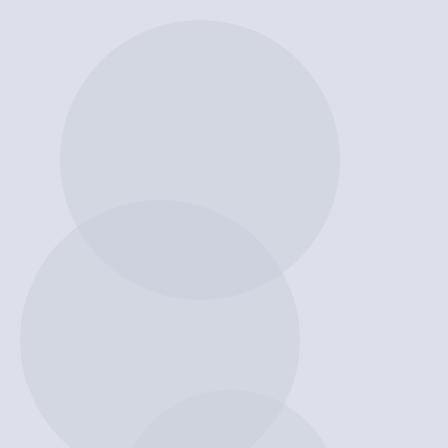Nationwide Dementiafest: Notes From The Edge Of The Narrative Matrix, by Caitlin Johnstone
Round Up the Usual Suspects; Don't Forget Putin, by Ray McGovern
Why Russia & Belarus Are Not Irrational to Fear Another 'Operation Barbarossa,' by Eric Zuesse
If You Miss Donald Trump, You'll Love Joe Biden, by Ted Rall
US Backs Al-Qaeda in Yemen while Dubbing Its Houthi Enemies 'Terrorists,' by Ben Norton
NATO Is No Beacon of Democracy, by Ramona Wadi
Biggest threat to global leftism returns to power: US fake-leftism (1/2), by Ramin Mazaheri
The Disuniting of America Is Now Inevitable Under Joe Biden and the Radical Left, by Robert Bridge
Blinken's diplomatic cart will have a bumpy ride, by M K Bhadrakuma
The Illusion of Democracy: Government by the Rich for the Even Richer, by Rod Driver
Casualties of the Old Cold War Should Inform Opposition to America´s New Cold War against